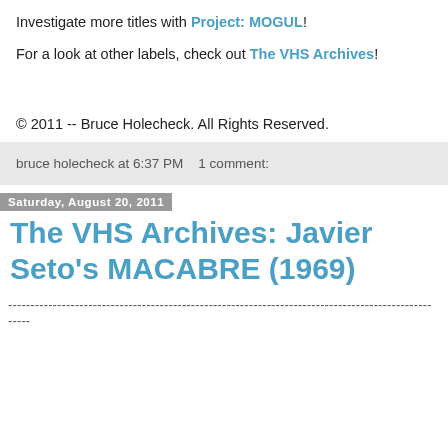Investigate more titles with Project: MOGUL!
For a look at other labels, check out The VHS Archives!
© 2011 -- Bruce Holecheck. All Rights Reserved.
bruce holecheck at 6:37 PM  1 comment:
Saturday, August 20, 2011
The VHS Archives: Javier Seto's MACABRE (1969)
-----